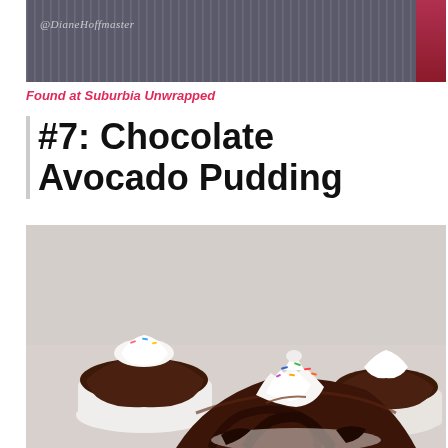[Figure (photo): Top photo showing striped dark gray fabric/textile background with a red accent on the right edge and @DianeHoffmaster watermark text]
Found at Suburbia Unwrapped
#7: Chocolate Avocado Pudding
[Figure (photo): Photo of chocolate avocado pudding served in white cups, topped with whipped cream and colorful sprinkles, close-up shot on light gray background]